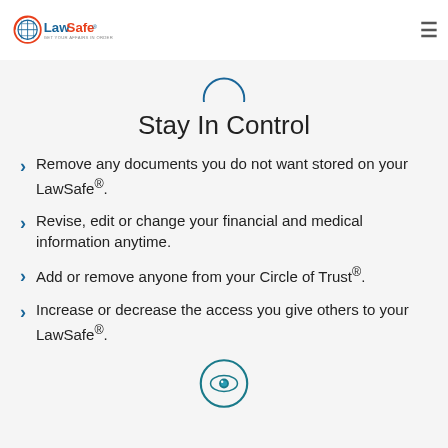LawSafe® - GET YOUR AFFAIRS IN ORDER
[Figure (illustration): Partial circle icon at top, blue outline of a circle (control/shield icon), cropped at top of content area]
Stay In Control
Remove any documents you do not want stored on your LawSafe®.
Revise, edit or change your financial and medical information anytime.
Add or remove anyone from your Circle of Trust®.
Increase or decrease the access you give others to your LawSafe®.
[Figure (illustration): Eye icon in a circle at bottom, teal/blue color, partially visible at bottom of page]